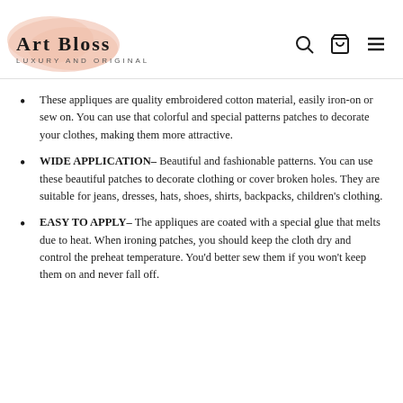Art Bloss — Luxury and Original
These appliques are quality embroidered cotton material, easily iron-on or sew on. You can use that colorful and special patterns patches to decorate your clothes, making them more attractive.
WIDE APPLICATION– Beautiful and fashionable patterns. You can use these beautiful patches to decorate clothing or cover broken holes. They are suitable for jeans, dresses, hats, shoes, shirts, backpacks, children's clothing.
EASY TO APPLY– The appliques are coated with a special glue that melts due to heat. When ironing patches, you should keep the cloth dry and control the preheat temperature. You'd better sew them if you won't keep them on and never fall off.